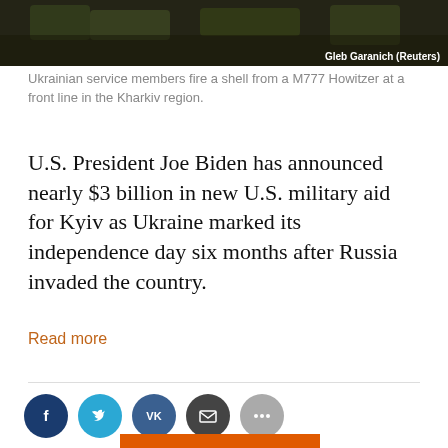[Figure (photo): Dark photograph of Ukrainian service members firing artillery, partially cropped at top of page. Credit: Gleb Garanich (Reuters)]
Ukrainian service members fire a shell from a M777 Howitzer at a front line in the Kharkiv region.
U.S. President Joe Biden has announced nearly $3 billion in new U.S. military aid for Kyiv as Ukraine marked its independence day six months after Russia invaded the country.
Read more
[Figure (infographic): Social media share buttons: Facebook (dark blue), Twitter (light blue), VK (dark blue-grey), Email (dark grey), More (grey)]